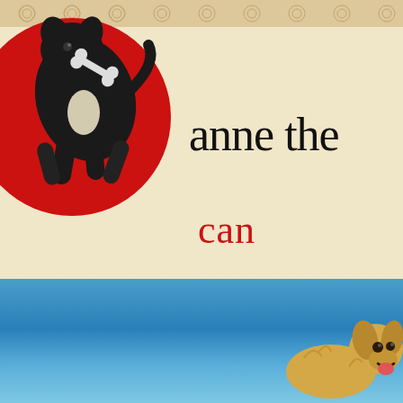[Figure (illustration): Book cover image showing top half: cream/tan background with decorative border pattern at top, a large red circle on the left with a black dog jumping/leaping holding a bone, and the text 'anne the' in large black serif font on the right, with 'can' in large red serif font below. Bottom half shows a blue sky with a golden retriever dog visible at the lower right.]